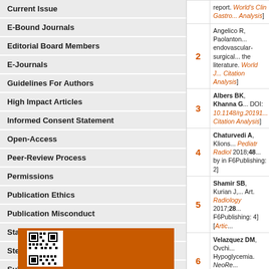Current Issue
E-Bound Journals
Editorial Board Members
E-Journals
Guidelines For Authors
High Impact Articles
Informed Consent Statement
Open-Access
Peer-Review Process
Permissions
Publication Ethics
Publication Misconduct
Statement of Human and Animal
Steps for Submitting Manuscripts
Submit a Manuscript
[Figure (other): QR code on orange background]
| # | Reference |
| --- | --- |
|  | report. World's Clin Gastro... Analysis] |
| 2 | Angelico R, Paolantono... endovascular-surgical... the literature. World J... Citation Analysis] |
| 3 | Albers BK, Khanna G... DOI: 10.1148/rg.20191... Citation Analysis] |
| 4 | Chaturvedi A, Klions... Pediatr Radiol 2018;48... by in F6Publishing: 2] |
| 5 | Shamir SB, Kurian J,... Art. Radiology 2017;28... F6Publishing: 4] [Artic... |
| 6 | Velazquez DM, Ovchi... Hypoglycemia. NeoRe... F6Publishing: 2] [Artic... |
| 7 | Wu L, Zhao L, Lu Y, H... Radiol. 2016;46:541-5... F6Publishing: 9] [Artic... |
|  | Zhang DY, Weng SQ,... |